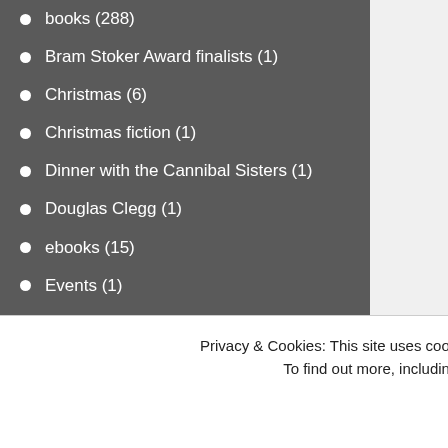books (288)
Bram Stoker Award finalists (1)
Christmas (6)
Christmas fiction (1)
Dinner with the Cannibal Sisters (1)
Douglas Clegg (1)
ebooks (15)
Events (1)
fiction (13)
fiction writing (2)
Fiction: Horror (6)
fictions (1)
Free Books (1)
Free eBooks (2)
Ghost Stories (6)
“The Ghosts of Rav together, create a wo
Privacy & Cookies: This site uses cookies. By continuing to use this website, you agree to their use.
To find out more, including how to control cookies, see here: Cookie Policy
haunted houses (2)